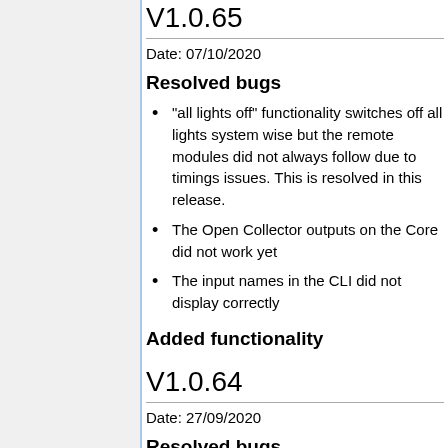V1.0.65
Date: 07/10/2020
Resolved bugs
"all lights off" functionality switches off all lights system wise but the remote modules did not always follow due to timings issues. This is resolved in this release.
The Open Collector outputs on the Core did not work yet
The input names in the CLI did not display correctly
Added functionality
V1.0.64
Date: 27/09/2020
Resolved bugs